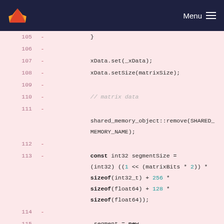GitLab — Menu
[Figure (screenshot): Code diff view showing lines 105–117 of a C++ source file with deleted lines (marked with -) on a pink background. Lines show code including xData.set, xData.setSize, shared_memory_object::remove, const int32 segmentSize computation, and _segment = new managed_shared_memory calls.]